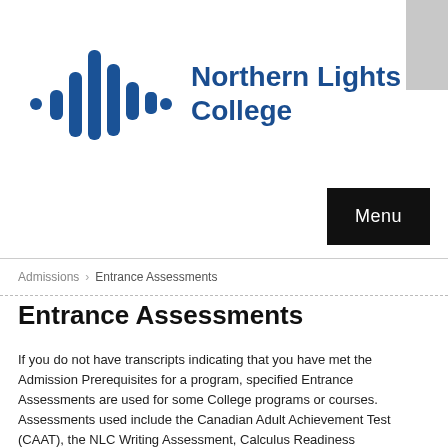[Figure (logo): Northern Lights College logo: blue waveform/sound wave icon on the left, and the text 'Northern Lights College' in dark blue on the right]
[Figure (other): Gray rectangle in the upper right corner, partially visible]
[Figure (other): Black 'Menu' button in the upper right area]
Admissions > Entrance Assessments
Entrance Assessments
If you do not have transcripts indicating that you have met the Admission Prerequisites for a program, specified Entrance Assessments are used for some College programs or courses.
Assessments used include the Canadian Adult Achievement Test (CAAT), the NLC Writing Assessment, Calculus Readiness